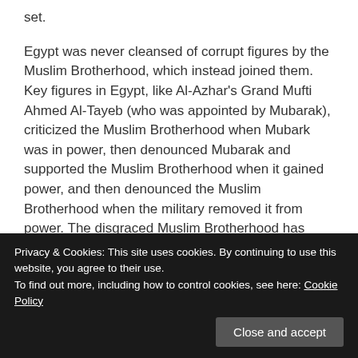set.
Egypt was never cleansed of corrupt figures by the Muslim Brotherhood, which instead joined them. Key figures in Egypt, like Al-Azhar's Grand Mufti Ahmed Al-Tayeb (who was appointed by Mubarak), criticized the Muslim Brotherhood when Mubark was in power, then denounced Mubarak and supported the Muslim Brotherhood when it gained power, and then denounced the Muslim Brotherhood when the military removed it from power. The disgraced Muslim Brotherhood has actually been replaced by a far worse assembly. These figures, whatever they call themselves, have only served power and never democracy. The
Privacy & Cookies: This site uses cookies. By continuing to use this website, you agree to their use.
To find out more, including how to control cookies, see here: Cookie Policy
Mubarak's regime.